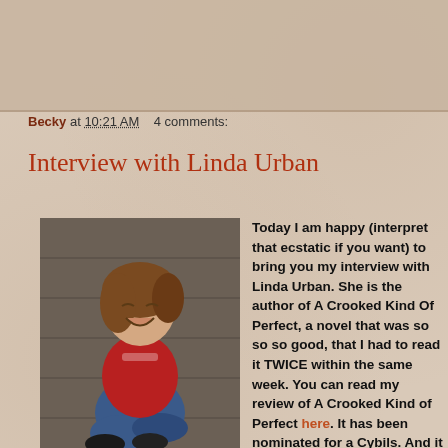Becky at 10:21 AM    4 comments:
Interview with Linda Urban
[Figure (photo): Photo of Linda Urban, a woman with brown hair laughing, wearing a red top and blue jeans, sitting against a wooden wall]
Today I am happy (interpret that ecstatic if you want) to bring you my interview with Linda Urban. She is the author of A Crooked Kind Of Perfect, a novel that was so so so good, that I had to read it TWICE within the same week. You can read my review of A Crooked Kind of Perfect here. It has been nominated for a Cybils. And it appeared on the Amazon's Best of 2007 list...